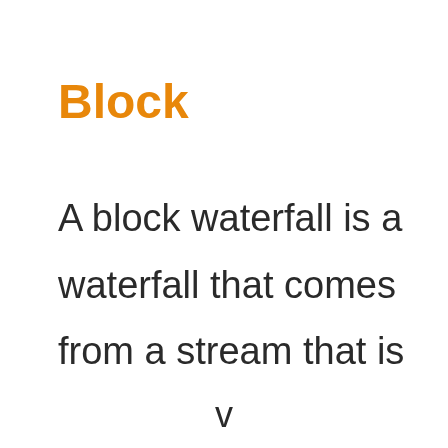Block
A block waterfall is a waterfall that comes from a stream that is